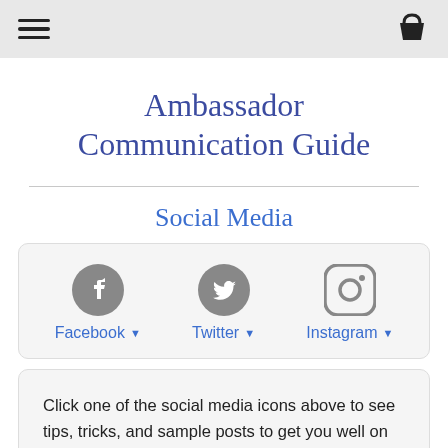Ambassador Communication Guide — navigation bar with hamburger menu and bucket icon
Ambassador Communication Guide
Social Media
[Figure (infographic): Three social media icons in a row: Facebook (circular F icon), Twitter (bird icon), Instagram (camera icon), each with a blue label and dropdown arrow below.]
Click one of the social media icons above to see tips, tricks, and sample posts to get you well on your way to mastering being a social Ambassador